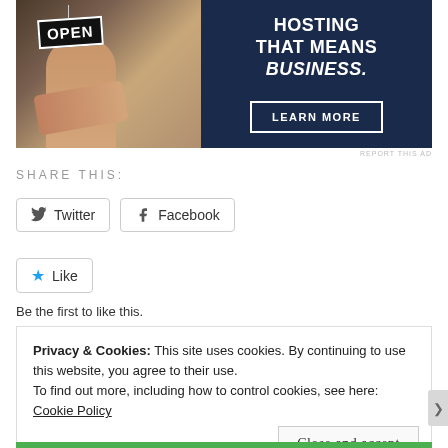[Figure (photo): Advertisement banner showing a person holding an OPEN sign. Text reads: HOSTING THAT MEANS BUSINESS. with a LEARN MORE button. Dark navy background on right side.]
REPORT THIS AD
SHARE THIS:
Twitter
Facebook
Like
Be the first to like this.
Privacy & Cookies: This site uses cookies. By continuing to use this website, you agree to their use.
To find out more, including how to control cookies, see here: Cookie Policy
Close and accept